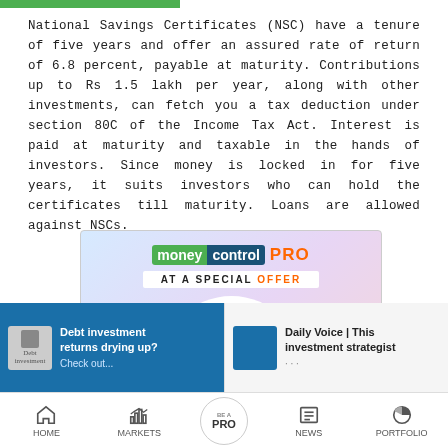National Savings Certificates (NSC) have a tenure of five years and offer an assured rate of return of 6.8 percent, payable at maturity. Contributions up to Rs 1.5 lakh per year, along with other investments, can fetch you a tax deduction under section 80C of the Income Tax Act. Interest is paid at maturity and taxable in the hands of investors. Since money is locked in for five years, it suits investors who can hold the certificates till maturity. Loans are allowed against NSCs.
[Figure (other): Moneycontrol PRO advertisement banner showing special offer: original price ₹3999 crossed out, new price ₹999/- highlighted in orange on a gradient background.]
[Figure (other): Bottom advertisement strip with two panels: left panel (blue) showing 'Debt investment returns drying up?' text, right panel showing 'Daily Voice | This investment strategist...' text.]
[Figure (other): Mobile app bottom navigation bar with HOME, MARKETS, BE A PRO, NEWS, PORTFOLIO icons.]